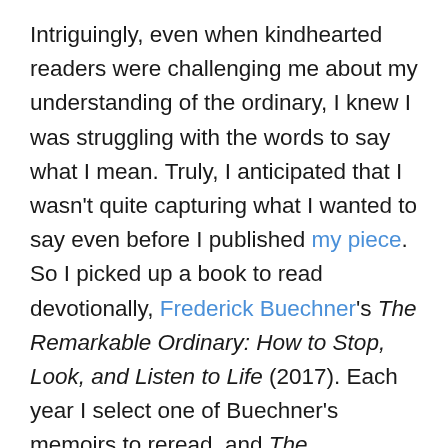Intriguingly, even when kindhearted readers were challenging me about my understanding of the ordinary, I knew I was struggling with the words to say what I mean. Truly, I anticipated that I wasn't quite capturing what I wanted to say even before I published my piece. So I picked up a book to read devotionally, Frederick Buechner's The Remarkable Ordinary: How to Stop, Look, and Listen to Life (2017). Each year I select one of Buechner's memoirs to reread, and The Remarkable Ordinary is very much reminiscent of those autobiographies. There are also echoes of key texts like The Alphabet of Grace, A Room Called Remember, and Whistling in the Dark. In The Remarkable Ordinary, Buechner reads his life as a text. And in this story, he shows how the transformational moments in his